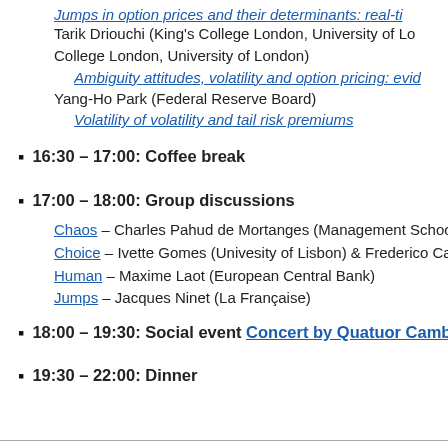Jumps in option prices and their determinants: real-ti…
Tarik Driouchi (King's College London, University of Lo… College London, University of London)
Ambiguity attitudes, volatility and option pricing: evid…
Yang-Ho Park (Federal Reserve Board)
Volatility of volatility and tail risk premiums
16:30 – 17:00: Coffee break
17:00 – 18:00: Group discussions
Chaos – Charles Pahud de Mortanges (Management School –…
Choice – Ivette Gomes (Univesity of Lisbon) & Frederico Ca…
Human – Maxime Laot (European Central Bank)
Jumps – Jacques Ninet (La Française)
18:00 – 19:30: Social event Concert by Quatuor Cambini
19:30 – 22:00: Dinner